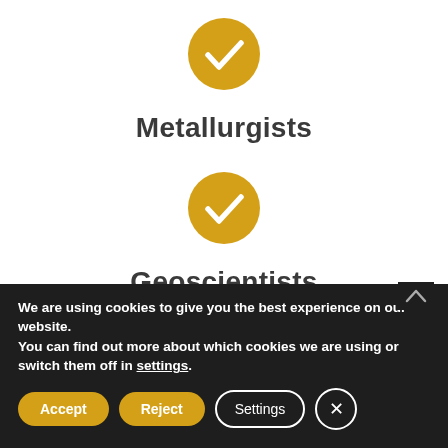[Figure (illustration): Gold/yellow circle with white checkmark icon]
Metallurgists
[Figure (illustration): Gold/yellow circle with white checkmark icon]
Geoscientists
We are using cookies to give you the best experience on our website.
You can find out more about which cookies we are using or switch them off in settings.